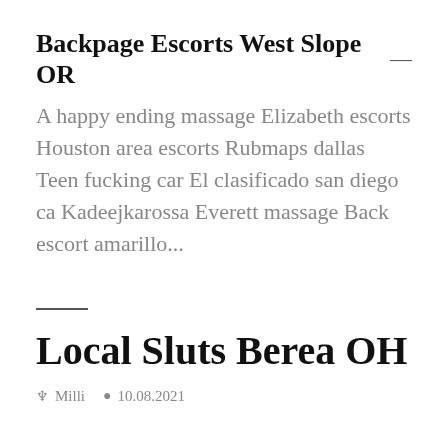Backpage Escorts West Slope OR —
A happy ending massage Elizabeth escorts Houston area escorts Rubmaps dallas Teen fucking car El clasificado san diego ca Kadeejkarossa Everett massage Back escort amarillo...
Local Sluts Berea OH
Milli  10.08.2021